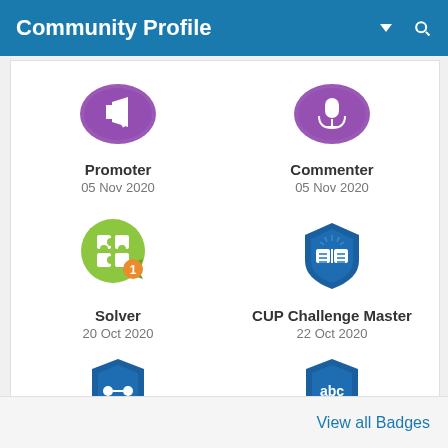Community Profile
[Figure (illustration): Purple oval badge with megaphone icon - Promoter badge, 05 Nov 2020]
[Figure (illustration): Purple oval badge with microphone icon - Commenter badge, 05 Nov 2020]
[Figure (illustration): Green circular badge with puzzle piece icon and number 1 - Solver badge, 20 Oct 2020]
[Figure (illustration): Blue shield badge with open book icon - CUP Challenge Master badge, 22 Oct 2020]
[Figure (illustration): Partially visible blue shield badge at bottom left]
[Figure (illustration): Partially visible blue shield badge at bottom right]
Show more
View all Badges